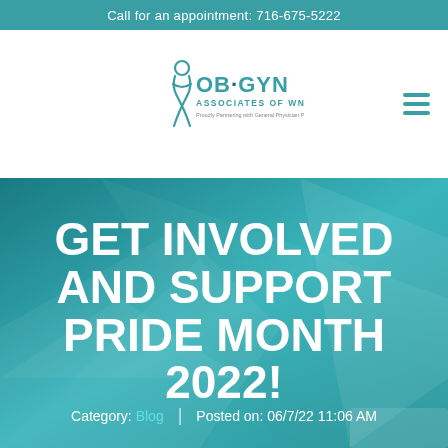Call for an appointment: 716-675-5222
[Figure (logo): OB-GYN Associates of WNY logo with stylized female figure silhouette]
GET INVOLVED AND SUPPORT PRIDE MONTH 2022!
Category: Blog | Posted on: 06/7/22 11:06 AM